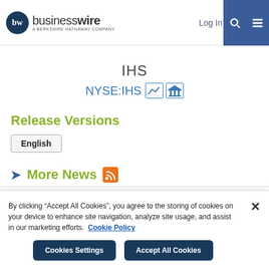businesswire — A BERKSHIRE HATHAWAY COMPANY | Log In | Sign Up
IHS
NYSE:IHS
Release Versions
English
More News
By clicking “Accept All Cookies”, you agree to the storing of cookies on your device to enhance site navigation, analyze site usage, and assist in our marketing efforts. Cookie Policy
Cookies Settings | Accept All Cookies